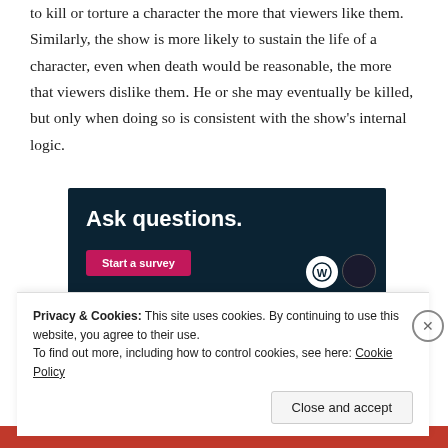to kill or torture a character the more that viewers like them. Similarly, the show is more likely to sustain the life of a character, even when death would be reasonable, the more that viewers dislike them. He or she may eventually be killed, but only when doing so is consistent with the show's internal logic.
[Figure (other): Advertisement banner with dark navy background showing 'Ask questions.' text in white bold font and a pink 'Start a survey' button, with WordPress and another logo in the bottom right.]
Privacy & Cookies: This site uses cookies. By continuing to use this website, you agree to their use.
To find out more, including how to control cookies, see here: Cookie Policy
Close and accept